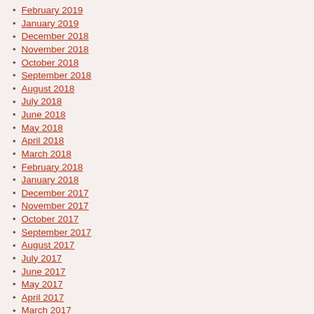February 2019
January 2019
December 2018
November 2018
October 2018
September 2018
August 2018
July 2018
June 2018
May 2018
April 2018
March 2018
February 2018
January 2018
December 2017
November 2017
October 2017
September 2017
August 2017
July 2017
June 2017
May 2017
April 2017
March 2017
February 2017